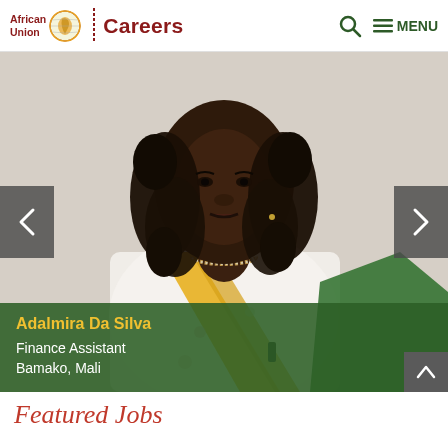African Union | Careers
[Figure (photo): Portrait photo of Adalmira Da Silva, a woman wearing a white floral dress with a yellow scarf/sash and beaded necklace, looking forward, against a light background. The African Union Careers website slider.]
Adalmira Da Silva
Finance Assistant
Bamako, Mali
Featured Jobs